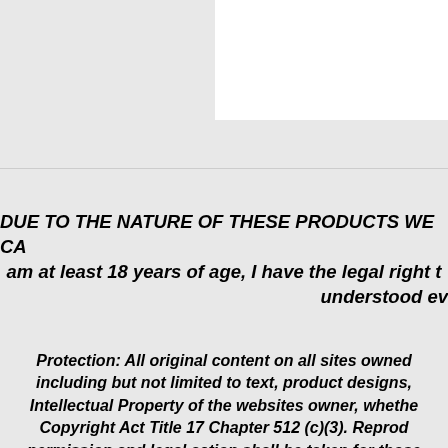[Figure (other): Partial view of a document page with a white rectangular box in the upper right area against a light grey background, separated by a horizontal line.]
DUE TO THE NATURE OF THESE PRODUCTS WE CA... am at least 18 years of age, I have the legal right t... understood ev...
Protection: All original content on all sites owned... including but not limited to text, product designs, c... Intellectual Property of the websites owner, whethe... Copyright Act Title 17 Chapter 512 (c)(3). Reprod... permission and legal action shall be taken for those...